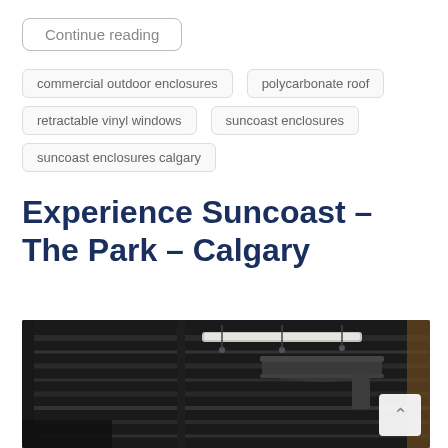Continue reading
commercial outdoor enclosures
polycarbonate roof
retractable vinyl windows
suncoast enclosures
suncoast enclosures calgary
Experience Suncoast – The Park – Calgary
[Figure (photo): Interior ceiling view of an outdoor commercial enclosure showing dark metal beams, industrial ventilation ductwork, and lighting strips — The Park Calgary by Suncoast Enclosures.]